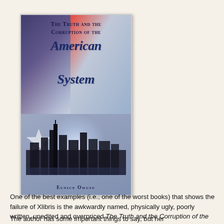[Figure (illustration): Book cover of 'The Truth and the Corruption of the American System' by Eunice Owusu. Shows an American flag background with red and blue sections, a city skyline silhouette in the lower portion, and a light beam effect. Title is in dark blue serif font, author name at the bottom in small caps.]
One of the best examples (i.e., one of the worst books) that shows the failure of Xlibris is the awkwardly named, physically ugly, poorly written, unedited and overpriced The Truth and the Corruption of the American System by Eunice Owusu.
The author has some important things to say, but her